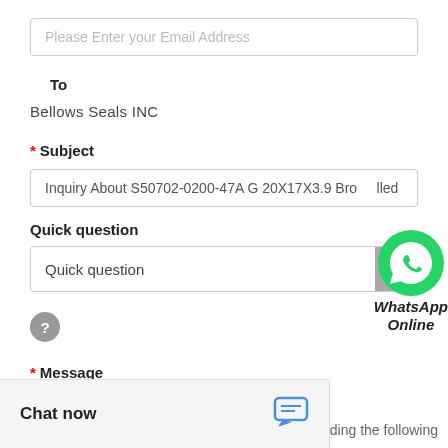Please Enter your Email Address
To
Bellows Seals INC
* Subject
Inquiry About S50702-0200-47A G 20X17X3.9 Bro...lled
Quick question
[Figure (logo): WhatsApp green phone icon with text 'WhatsApp Online']
Quick question (dropdown)
[Figure (other): Gray circle help/question mark icon]
* Message
Chat now
ncluding the following